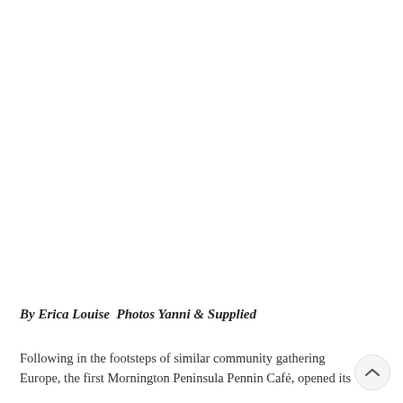[Figure (photo): Large photo area taking up the top portion of the page — content not visible in this crop (white/blank area).]
By Erica Louise  Photos Yanni & Supplied
Following in the footsteps of similar community gathering places across Europe, the first Mornington Peninsula Pennin Café opened its